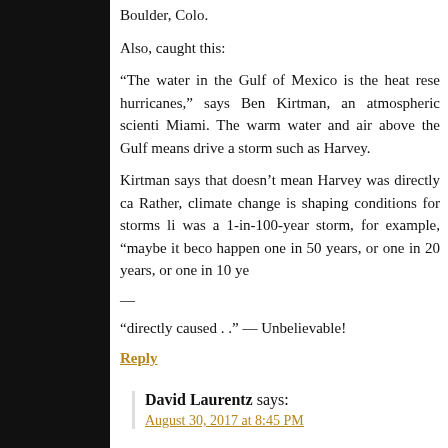Boulder, Colo.
Also, caught this:
“The water in the Gulf of Mexico is the heat rese… hurricanes,” says Ben Kirtman, an atmospheric scienti… Miami. The warm water and air above the Gulf means… drive a storm such as Harvey.
Kirtman says that doesn’t mean Harvey was directly ca… Rather, climate change is shaping conditions for storms li… was a 1-in-100-year storm, for example, “maybe it beco… happen one in 50 years, or one in 20 years, or one in 10 ye…
—
“directly caused . .” — Unbelievable!
Reply
David Laurentz says:
August 30, 2017 at 8:45 PM